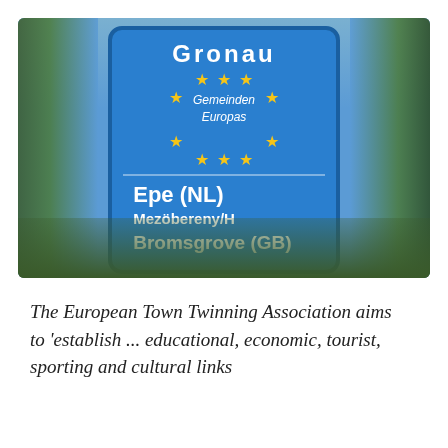[Figure (photo): Photograph of a blue European town twinning sign for Gronau showing EU stars and partner towns Epe (NL), Mezöbereny/H, and Bromsgrove (GB), with trees in the background]
The European Town Twinning Association aims to 'establish ... educational, economic, tourist, sporting and cultural links